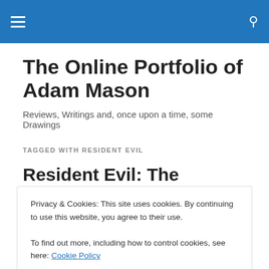Navigation menu and search icon
The Online Portfolio of Adam Mason
Reviews, Writings and, once upon a time, some Drawings
TAGGED WITH RESIDENT EVIL
Resident Evil: The Mercenaries
Privacy & Cookies: This site uses cookies. By continuing to use this website, you agree to their use.
To find out more, including how to control cookies, see here: Cookie Policy
Close and accept
– not arriving until later in the year, it would seem that